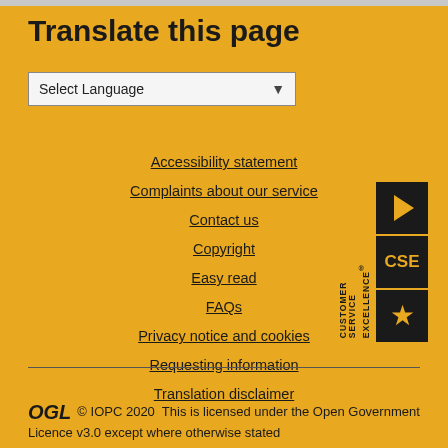Translate this page
Select Language
Accessibility statement
Complaints about our service
Contact us
Copyright
Easy read
FAQs
Privacy notice and cookies
Requesting information
Translation disclaimer
[Figure (logo): Customer Service Excellence badge with play button, CSE text, and star icons on dark background]
OGL © IOPC 2020 This is licensed under the Open Government Licence v3.0 except where otherwise stated